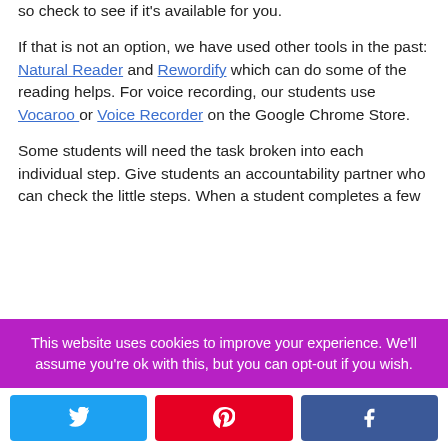so check to see if it's available for you.

If that is not an option, we have used other tools in the past: Natural Reader and Rewordify which can do some of the reading helps. For voice recording, our students use Vocaroo or Voice Recorder on the Google Chrome Store.

Some students will need the task broken into each individual step. Give students an accountability partner who can check the little steps. When a student completes a few
This website uses cookies to improve your experience. We'll assume you're ok with this, but you can opt-out if you wish.